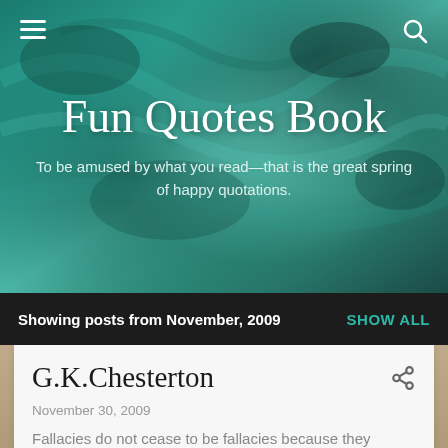[Figure (photo): Aerial view of turquoise ocean water used as hero background image for Fun Quotes Book website header]
Fun Quotes Book
To be amused by what you read—that is the great spring of happy quotations.
Showing posts from November, 2009   SHOW ALL
G.K.Chesterton
November 30, 2009
Fallacies do not cease to be fallacies because they become fashions.
READ MORE